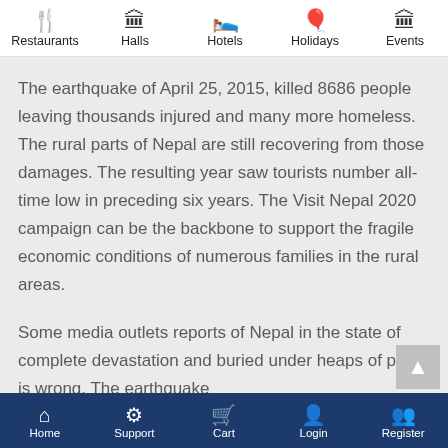Restaurants | Halls | Hotels | Holidays | Events | Spa
The earthquake of April 25, 2015, killed 8686 people leaving thousands injured and many more homeless. The rural parts of Nepal are still recovering from those damages. The resulting year saw tourists number all-time low in preceding six years. The Visit Nepal 2020 campaign can be the backbone to support the fragile economic conditions of numerous families in the rural areas.
Some media outlets reports of Nepal in the state of complete devastation and buried under heaps of pile is wrong. The earthquake
Home | Support | Cart | Login | Register